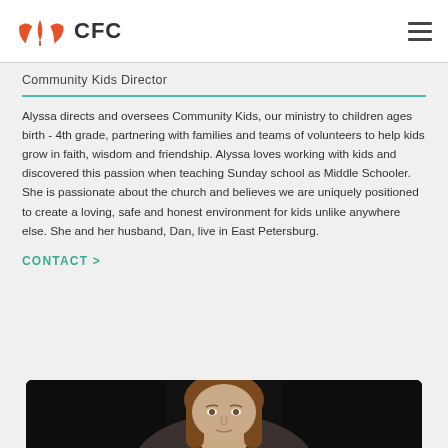CFC
Community Kids Director
Alyssa directs and oversees Community Kids, our ministry to children ages birth - 4th grade, partnering with families and teams of volunteers to help kids grow in faith, wisdom and friendship. Alyssa loves working with kids and discovered this passion when teaching Sunday school as Middle Schooler. She is passionate about the church and believes we are uniquely positioned to create a loving, safe and honest environment for kids unlike anywhere else. She and her husband, Dan, live in East Petersburg.
CONTACT >
[Figure (photo): Portrait photo of a woman with long brown hair against a dark background, cropped at bottom of page]